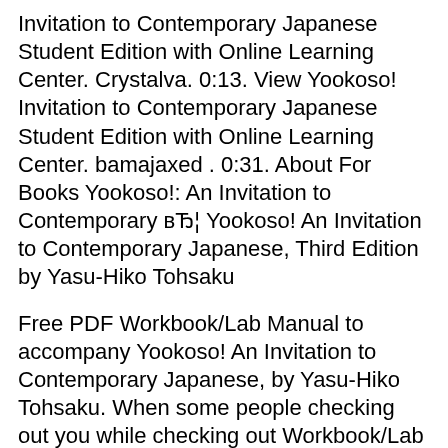Invitation to Contemporary Japanese Student Edition with Online Learning Center. Crystalva. 0:13. View Yookoso! Invitation to Contemporary Japanese Student Edition with Online Learning Center. bamajaxed . 0:31. About For Books Yookoso!: An Invitation to Contemporary вЂ¦ Yookoso! An Invitation to Contemporary Japanese, Third Edition by Yasu-Hiko Tohsaku
Free PDF Workbook/Lab Manual to accompany Yookoso! An Invitation to Contemporary Japanese, by Yasu-Hiko Tohsaku. When some people checking out you while checking out Workbook/Lab Manual To Accompany Yookoso!An Invitation To Contemporary